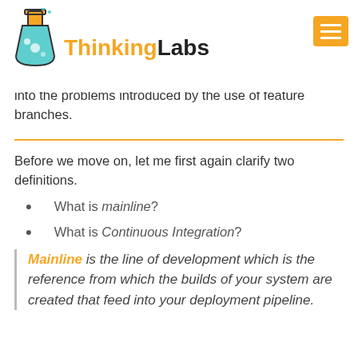ThinkingLabs
into the problems introduced by the use of feature branches.
Before we move on, let me first again clarify two definitions.
What is mainline?
What is Continuous Integration?
Mainline is the line of development which is the reference from which the builds of your system are created that feed into your deployment pipeline.